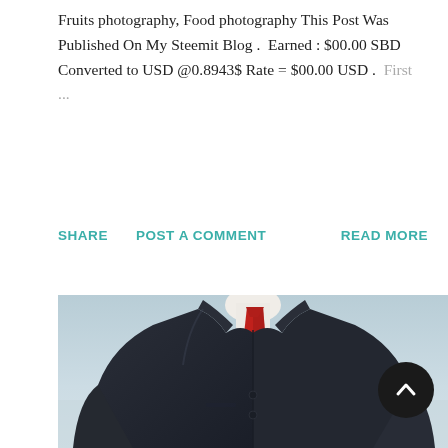Fruits photography, Food photography This Post Was Published On My Steemit Blog .  Earned : $00.00 SBD Converted to USD @0.8943$ Rate = $00.00 USD .  First  ...
SHARE   POST A COMMENT   READ MORE
[Figure (photo): A headless man wearing a dark navy suit jacket with a red tie and white collared shirt, painted in a surrealist style reminiscent of René Magritte's work. The background is a soft blue-grey sky.]